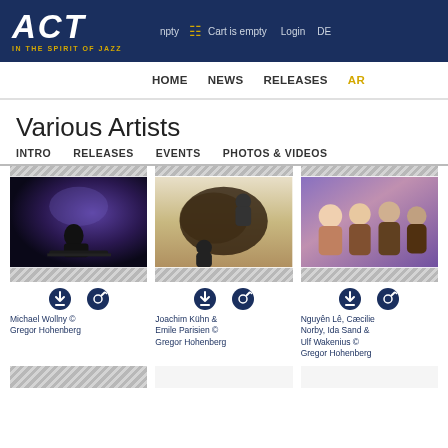ACT - IN THE SPIRIT OF JAZZ | npty | Cart is empty | Login | DE
HOME | NEWS | RELEASES | AR...
Various Artists
INTRO   RELEASES   EVENTS   PHOTOS & VIDEOS
[Figure (photo): Pianist performing on stage with blue/purple lighting - Michael Wollny]
Michael Wollny © Gregor Hohenberg
[Figure (photo): Two musicians performing with a grand piano viewed from above - Joachim Kühn & Emile Parisien]
Joachim Kühn & Emile Parisien © Gregor Hohenberg
[Figure (photo): Group of musicians socializing - Nguyên Lê, Cæcilie Norby, Ida Sand & Ulf Wakenius]
Nguyên Lê, Cæcilie Norby, Ida Sand & Ulf Wakenius © Gregor Hohenberg